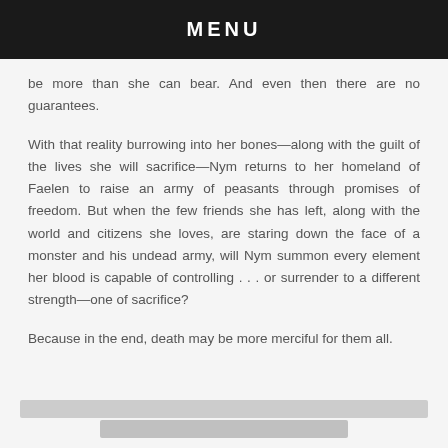MENU
be more than she can bear. And even then there are no guarantees.
With that reality burrowing into her bones—along with the guilt of the lives she will sacrifice—Nym returns to her homeland of Faelen to raise an army of peasants through promises of freedom. But when the few friends she has left, along with the world and citizens she loves, are staring down the face of a monster and his undead army, will Nym summon every element her blood is capable of controlling . . . or surrender to a different strength—one of sacrifice?
Because in the end, death may be more merciful for them all.